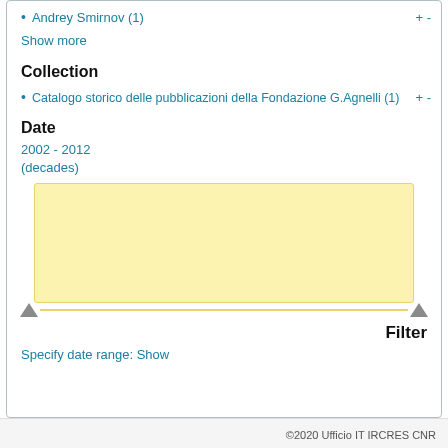Andrey Smirnov (1)  + -
Show more
Collection
Catalogo storico delle pubblicazioni della Fondazione G.Agnelli (1)  + -
Date
2002 - 2012
(decades)
[Figure (other): Yellow date range slider box with triangular arrow handles at bottom left and right]
Filter
Specify date range: Show
©2020 Ufficio IT IRCRES CNR